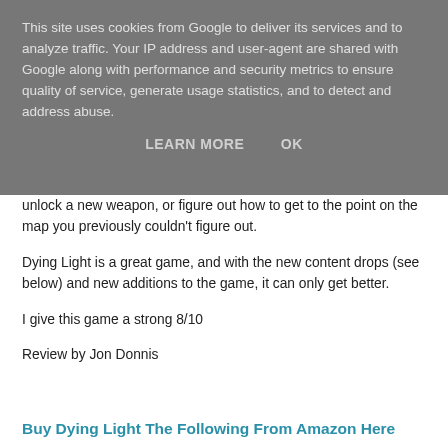This site uses cookies from Google to deliver its services and to analyze traffic. Your IP address and user-agent are shared with Google along with performance and security metrics to ensure quality of service, generate usage statistics, and to detect and address abuse.
LEARN MORE   OK
unlock a new weapon, or figure out how to get to the point on the map you previously couldn't figure out.
Dying Light is a great game, and with the new content drops (see below) and new additions to the game, it can only get better.
I give this game a strong 8/10
Review by Jon Donnis
Buy Dying Light The Following From Amazon Here